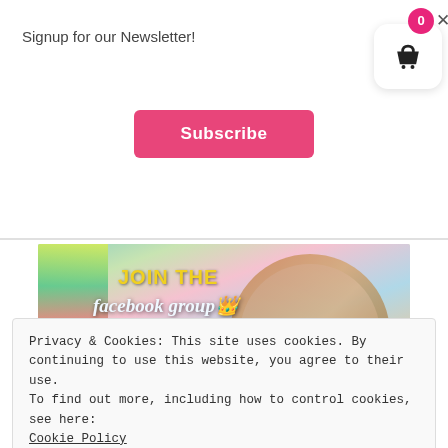Signup for our Newsletter!
Subscribe
[Figure (illustration): Shopping cart icon with badge showing 0 and X close button in top right corner]
[Figure (photo): Facebook group promotional banner for 'apileofashes' with colorful craft supplies, text reading JOIN THE facebook group apileofashes, to bestow on them a crown of beauty instead of ashes, Sticker Squad Group + Bible Journaling and Planner Goodness]
Privacy & Cookies: This site uses cookies. By continuing to use this website, you agree to their use.
To find out more, including how to control cookies, see here: Cookie Policy
Close and accept